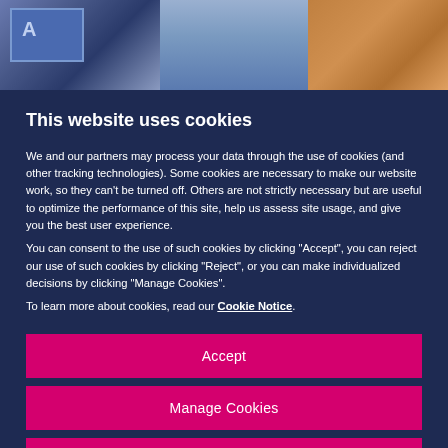[Figure (photo): Blurred banner photo of a storefront/street scene with blue tones on left and orange/produce tones on right]
This website uses cookies
We and our partners may process your data through the use of cookies (and other tracking technologies). Some cookies are necessary to make our website work, so they can't be turned off. Others are not strictly necessary but are useful to optimize the performance of this site, help us assess site usage, and give you the best user experience.
You can consent to the use of such cookies by clicking "Accept", you can reject our use of such cookies by clicking "Reject", or you can make individualized decisions by clicking "Manage Cookies".
To learn more about cookies, read our Cookie Notice.
Accept
Manage Cookies
Reject